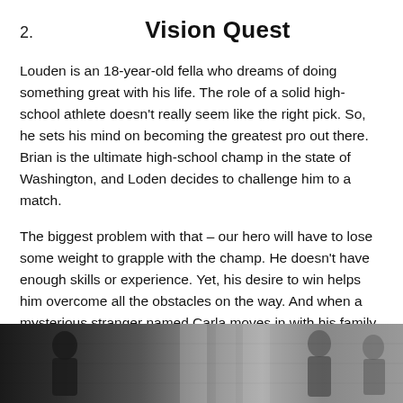2. Vision Quest
Louden is an 18-year-old fella who dreams of doing something great with his life. The role of a solid high-school athlete doesn't really seem like the right pick. So, he sets his mind on becoming the greatest pro out there. Brian is the ultimate high-school champ in the state of Washington, and Loden decides to challenge him to a match.
The biggest problem with that – our hero will have to lose some weight to grapple with the champ. He doesn't have enough skills or experience. Yet, his desire to win helps him overcome all the obstacles on the way. And when a mysterious stranger named Carla moves in with his family, the boy gets just the right motivation to achieve his goals.
[Figure (photo): Black and white or dark photograph showing people, likely from the movie Vision Quest]